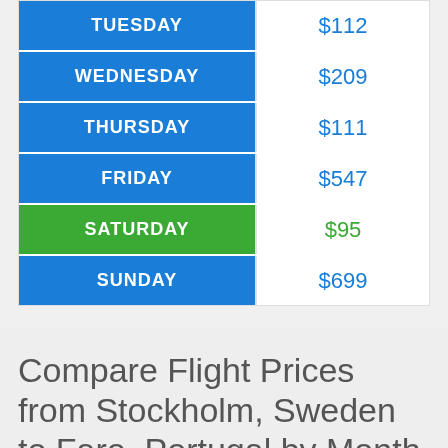| Day | Price |
| --- | --- |
| TUESDAY | $112 |
| WEDNESDAY | $209 |
| THURSDAY | $111 |
| FRIDAY | $547 |
| SATURDAY | $95 |
| SUNDAY | $699 |
Compare Flight Prices from Stockholm, Sweden to Faro, Portugal by Month